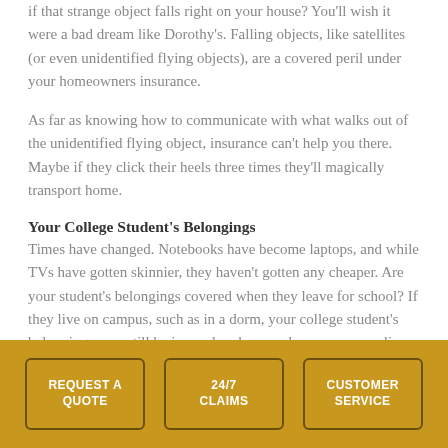if that strange object falls right on your house? You'll wish it were a bad dream like Dorothy's. Falling objects, like satellites (or even unidentified flying objects), are a covered peril under your homeowners insurance.
As far as knowing how to communicate with what walks out of the unidentified flying object, insurance can't help you there. Maybe if they click their heels three times they'll magically transport home.
Your College Student's Belongings
Times have changed. Notebooks have become laptops, and while TVs have gotten skinnier, they haven't gotten any cheaper. Are your student's belongings covered when they leave for school? If they live on campus, such as in a dorm, your college student's belongings may still be insured under your homeowners policy in the event of theft, fire, accident, or other unfortunate incident.
REQUEST A QUOTE | 24/7 CLAIMS | CUSTOMER SERVICE